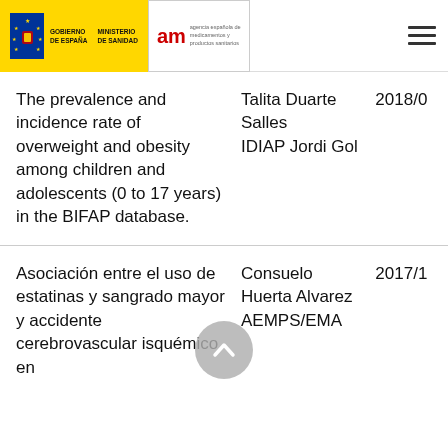[Figure (logo): Spanish Government (Gobierno de España / Ministerio de Sanidad) and AEMPS (Agencia Española de Medicamentos y Productos Sanitarios) logos, with hamburger menu icon]
| Title | Author/Institution | Year |
| --- | --- | --- |
| The prevalence and incidence rate of overweight and obesity among children and adolescents (0 to 17 years) in the BIFAP database. | Talita Duarte Salles
IDIAP Jordi Gol | 2018/0 |
| Asociación entre el uso de estatinas y sangrado mayor y accidente cerebrovascular isquémico en | Consuelo Huerta Alvarez
AEMPS/EMA | 2017/1 |